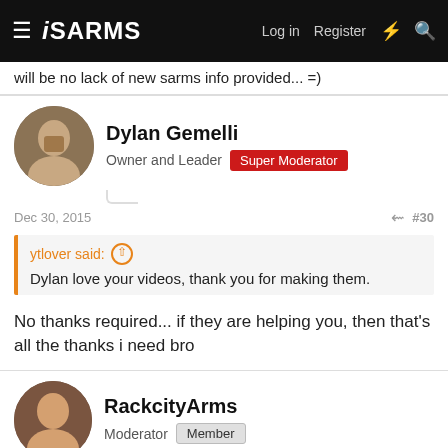ISARMS — Log in  Register
will be no lack of new sarms info provided... =)
Dylan Gemelli
Owner and Leader  Super Moderator
Dec 30, 2015  #30
ytlover said:  Dylan love your videos, thank you for making them.
No thanks required... if they are helping you, then that's all the thanks i need bro
RackcityArms
Moderator  Member